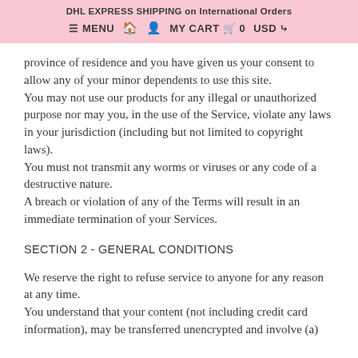DHL EXPRESS SHIPPING on International Orders
≡ MENU  🏠  👤  MY CART  🛒  0  USD ⌄
province of residence and you have given us your consent to allow any of your minor dependents to use this site.
You may not use our products for any illegal or unauthorized purpose nor may you, in the use of the Service, violate any laws in your jurisdiction (including but not limited to copyright laws).
You must not transmit any worms or viruses or any code of a destructive nature.
A breach or violation of any of the Terms will result in an immediate termination of your Services.
SECTION 2 - GENERAL CONDITIONS
We reserve the right to refuse service to anyone for any reason at any time.
You understand that your content (not including credit card information), may be transferred unencrypted and involve (a)